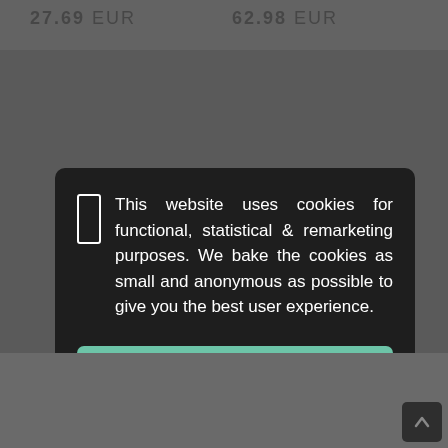27.69  EUR
62.98  EUR
This website uses cookies for functional, statistical & remarketing purposes. We bake the cookies as small and anonymous as possible to give you the best user experience.
THAT'S FINE!
I'm not sure...
ve 3.5
p